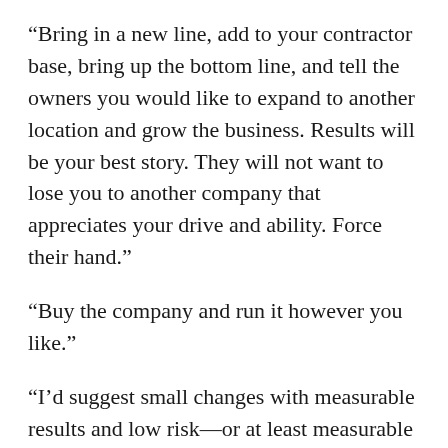“Bring in a new line, add to your contractor base, bring up the bottom line, and tell the owners you would like to expand to another location and grow the business. Results will be your best story. They will not want to lose you to another company that appreciates your drive and ability. Force their hand.”
“Buy the company and run it however you like.”
“I’d suggest small changes with measurable results and low risk—or at least measurable risk. Unknown can be challenging for some owners. Having a clear plan, with gauges for success vs. failure may open up their thoughts. Additionally, discussing and understanding their reluctance for change would be